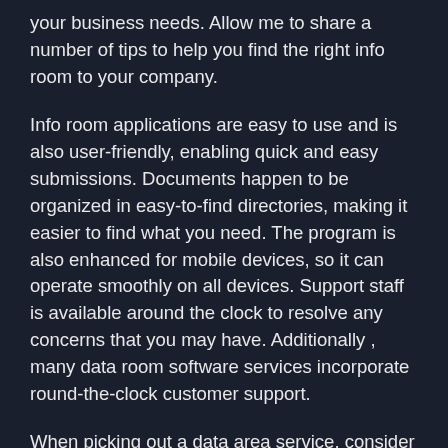your business needs. Allow me to share a number of tips to help you find the right info room to your company.
Info room applications are easy to use and is also user-friendly, enabling quick and easy submissions. Documents happen to be organized in easy-to-find directories, making it easier to find what you need. The program is also enhanced for mobile devices, so it can operate smoothly on all devices. Support staff is available around the clock to resolve any concerns that you may have. Additionally , many data room software services incorporate round-the-clock customer support.
When picking out a data area service, consider what types of documents you plan to share with the general public. Publicly-listed companies generally undergo research, which involves an intensive investigation of this company's procedures and benefit. These files must be available to all parties, including potential investors, at all times. Having frequent access to these types of